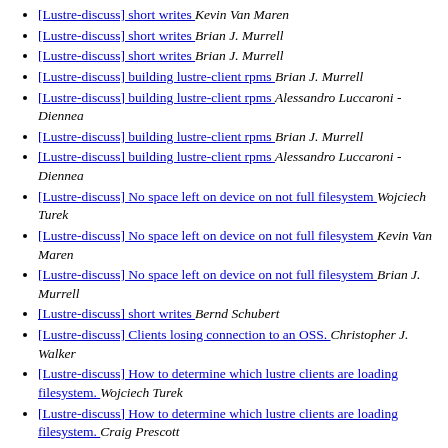[Lustre-discuss] short writes  Kevin Van Maren
[Lustre-discuss] short writes  Brian J. Murrell
[Lustre-discuss] short writes  Brian J. Murrell
[Lustre-discuss] building lustre-client rpms  Brian J. Murrell
[Lustre-discuss] building lustre-client rpms  Alessandro Luccaroni - Diennea
[Lustre-discuss] building lustre-client rpms  Brian J. Murrell
[Lustre-discuss] building lustre-client rpms  Alessandro Luccaroni - Diennea
[Lustre-discuss] No space left on device on not full filesystem  Wojciech Turek
[Lustre-discuss] No space left on device on not full filesystem  Kevin Van Maren
[Lustre-discuss] No space left on device on not full filesystem  Brian J. Murrell
[Lustre-discuss] short writes  Bernd Schubert
[Lustre-discuss] Clients losing connection to an OSS.  Christopher J. Walker
[Lustre-discuss] How to determine which lustre clients are loading filesystem.  Wojciech Turek
[Lustre-discuss] How to determine which lustre clients are loading filesystem.  Craig Prescott
[Lustre-discuss] How to determine which lustre clients are